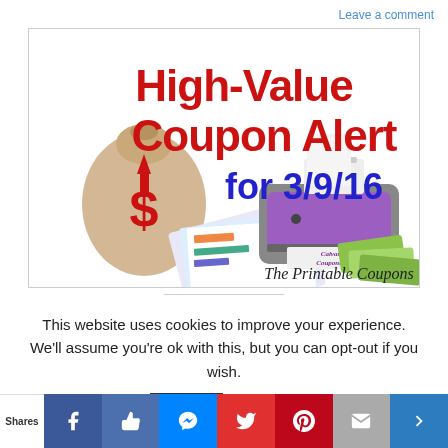Leave a comment
[Figure (illustration): High-Value Coupon Alert for 3/9/16 promotional banner with a money bag, printer, coupons, and cash. Text reads 'Calvary Couponers' and 'The Printable Coupons'.]
This website uses cookies to improve your experience. We'll assume you're ok with this, but you can opt-out if you wish.
Accept   Read More
Shares | Facebook | Like | Messenger | Twitter | Pinterest | Email | More